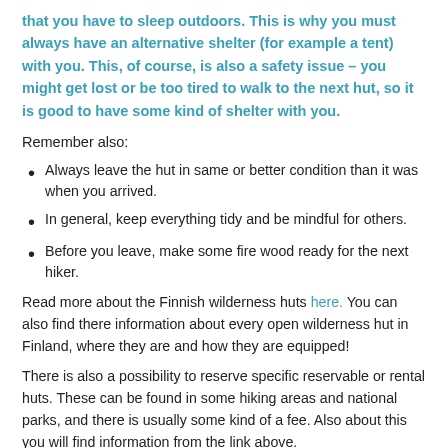that you have to sleep outdoors. This is why you must always have an alternative shelter (for example a tent) with you. This, of course, is also a safety issue – you might get lost or be too tired to walk to the next hut, so it is good to have some kind of shelter with you.
Remember also:
Always leave the hut in same or better condition than it was when you arrived.
In general, keep everything tidy and be mindful for others.
Before you leave, make some fire wood ready for the next hiker.
Read more about the Finnish wilderness huts here. You can also find there information about every open wilderness hut in Finland, where they are and how they are equipped!
There is also a possibility to reserve specific reservable or rental huts. These can be found in some hiking areas and national parks, and there is usually some kind of a fee. Also about this you will find information from the link above.